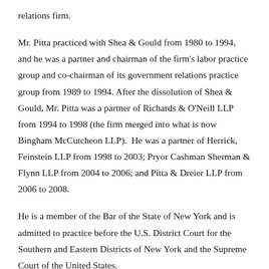relations firm.
Mr. Pitta practiced with Shea & Gould from 1980 to 1994, and he was a partner and chairman of the firm's labor practice group and co-chairman of its government relations practice group from 1989 to 1994. After the dissolution of Shea & Gould, Mr. Pitta was a partner of Richards & O'Neill LLP from 1994 to 1998 (the firm merged into what is now Bingham McCutcheon LLP).  He was a partner of Herrick, Feinstein LLP from 1998 to 2003; Pryor Cashman Sherman & Flynn LLP from 2004 to 2006; and Pitta & Dreier LLP from 2006 to 2008.
He is a member of the Bar of the State of New York and is admitted to practice before the U.S. District Court for the Southern and Eastern Districts of New York and the Supreme Court of the United States.